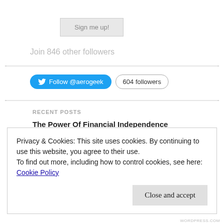[Figure (other): Sign me up! button — a grey rectangular button with light border and grey text]
Join 846 other followers
[Figure (other): Twitter Follow @aerogeek button (blue pill-shaped with Twitter bird icon) and '604 followers' count in a rounded border]
RECENT POSTS
The Power Of Financial Independence
Privacy & Cookies: This site uses cookies. By continuing to use this website, you agree to their use.
To find out more, including how to control cookies, see here: Cookie Policy
Close and accept